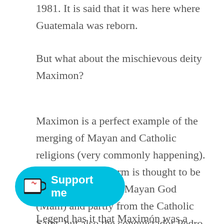1981. It is said that it was here where Guatemala was reborn.
But what about the mischievous deity Maximon?
Maximon is a perfect example of the merging of Mayan and Catholic religions (very commonly happening). His present-day form is thought to be derived partly from Mayan God (Mam) and partly from the Catholic Saint, but also the conquistador Pedro de Alvarado.
[Figure (other): Ko-fi 'Support me' button with coffee cup icon in cyan/turquoise color]
Legend has it that Maximón was a notoriously